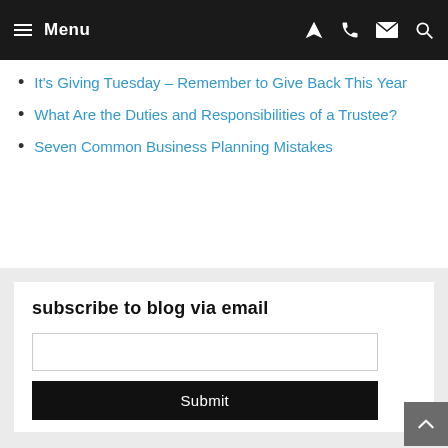Menu
It's Giving Tuesday – Remember to Give Back This Year
What Are the Duties and Responsibilities of a Trustee?
Seven Common Business Planning Mistakes
subscribe to blog via email
Submit